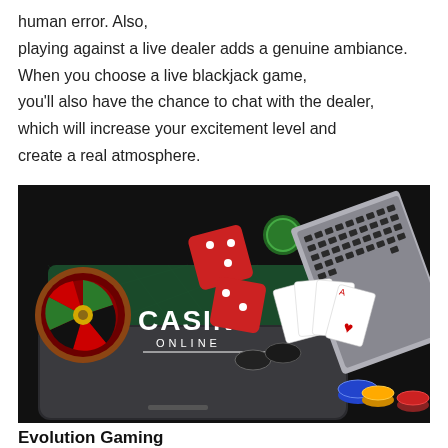human error. Also, playing against a live dealer adds a genuine ambiance. When you choose a live blackjack game, you'll also have the chance to chat with the dealer, which will increase your excitement level and create a real atmosphere.
[Figure (photo): Casino online promotional image showing a smartphone with 'CASINO ONLINE' text on a green felt surface, surrounded by a roulette wheel, red dice, poker chips, playing cards, and a laptop keyboard on a dark background.]
Evolution Gaming